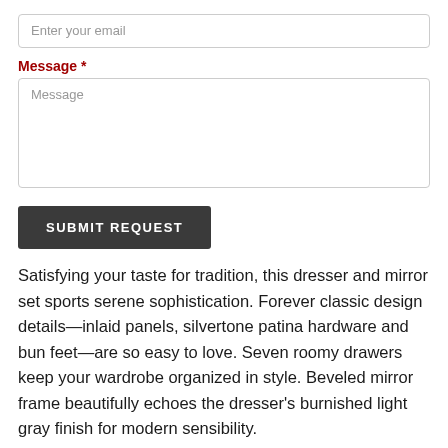Enter your email
Message *
Message
SUBMIT REQUEST
Satisfying your taste for tradition, this dresser and mirror set sports serene sophistication. Forever classic design details—inlaid panels, silvertone patina hardware and bun feet—are so easy to love. Seven roomy drawers keep your wardrobe organized in style. Beveled mirror frame beautifully echoes the dresser's burnished light gray finish for modern sensibility.